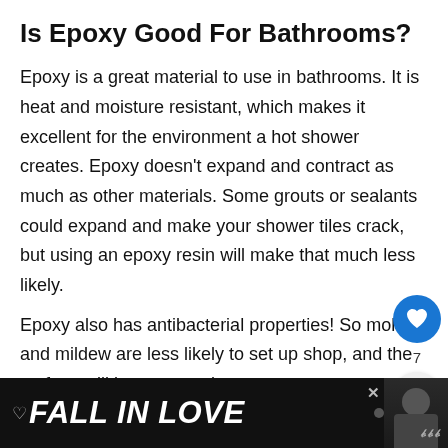Is Epoxy Good For Bathrooms?
Epoxy is a great material to use in bathrooms. It is heat and moisture resistant, which makes it excellent for the environment a hot shower creates. Epoxy doesn't expand and contract as much as other materials. Some grouts or sealants could expand and make your shower tiles crack, but using an epoxy resin will make that much less likely.
Epoxy also has antibacterial properties! So mold and mildew are less likely to set up shop, and the surface will be easy to clean.
[Figure (screenshot): Bottom advertisement bar with 'FALL IN LOVE' text and person with headphones on dark background, with Tidal music streaming logo]
[Figure (infographic): Floating UI overlay: blue heart/like button with count 7, share button. What's Next panel with image thumbnail and 'Can You Epoxy A Wo...' link.]